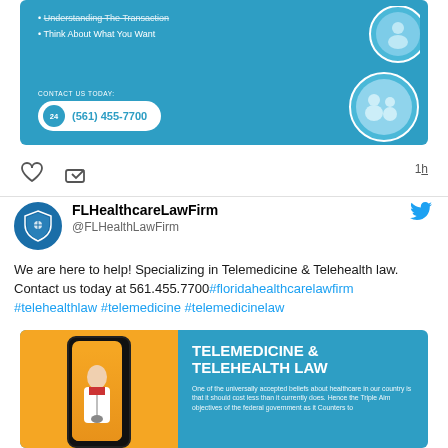[Figure (screenshot): Blue promotional card for FL Healthcare Law Firm showing bullet points, contact info with phone icon and number (561) 455-7700, and two circular photos of medical professionals.]
[Figure (infographic): Social media interaction row with heart icon, share icon, and timestamp '1h'.]
FLHealthcareLawFirm @FLHealthLawFirm We are here to help! Specializing in Telemedicine & Telehealth law. Contact us today at 561.455.7700#floridahealthcarelawfirm #telehealthlaw #telemedicine #telemedicinelaw
[Figure (infographic): Blue promotional card with image of doctor holding phone and text: TELEMEDICINE & TELEHEALTH LAW with body copy beginning 'One of the universally accepted beliefs about healthcare in our country is that it should cost less than it currently does. Hence the Triple Aim objectives of the federal government as it Counters to']